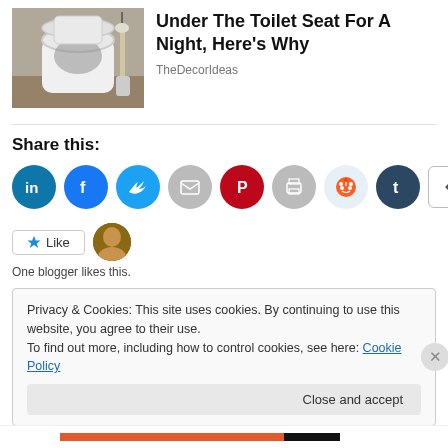[Figure (photo): Photo of a white toilet with lid up, toilet brush nearby, on a wooden floor background]
Under The Toilet Seat For A Night, Here's Why
TheDecorIdeas
Share this:
[Figure (infographic): Social share buttons: LinkedIn, Facebook, Twitter, Email, Pinterest, Print, Reddit, Tumblr, More]
[Figure (infographic): Like button with star icon and blogger avatar thumbnail]
One blogger likes this.
Privacy & Cookies: This site uses cookies. By continuing to use this website, you agree to their use.
To find out more, including how to control cookies, see here: Cookie Policy
Close and accept